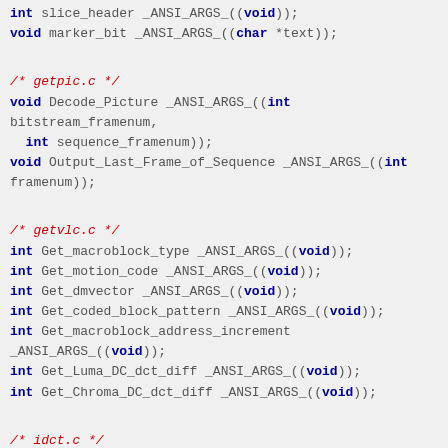int slice_header _ANSI_ARGS_((void));
void marker_bit _ANSI_ARGS_((char *text));
/* getpic.c */
void Decode_Picture _ANSI_ARGS_((int bitstream_framenum,
  int sequence_framenum));
void Output_Last_Frame_of_Sequence _ANSI_ARGS_((int framenum));
/* getvlc.c */
int Get_macroblock_type _ANSI_ARGS_((void));
int Get_motion_code _ANSI_ARGS_((void));
int Get_dmvector _ANSI_ARGS_((void));
int Get_coded_block_pattern _ANSI_ARGS_((void));
int Get_macroblock_address_increment _ANSI_ARGS_((void));
int Get_Luma_DC_dct_diff _ANSI_ARGS_((void));
int Get_Chroma_DC_dct_diff _ANSI_ARGS_((void));
/* idct.c */
void Fast_IDCT _ANSI_ARGS_((short *block));
void Initialize_Fast_IDCT _ANSI_ARGS_((void));
/* Reference_IDCT.c */
void Initialize_Reference_IDCT _ANSI_ARGS_((void));
void Reference_IDCT _ANSI_ARGS_((short *block));